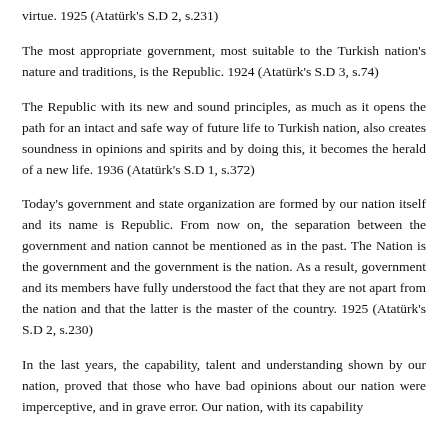virtue. 1925 (Atatürk's S.D 2, s.231)
The most appropriate government, most suitable to the Turkish nation's nature and traditions, is the Republic. 1924 (Atatürk's S.D 3, s.74)
The Republic with its new and sound principles, as much as it opens the path for an intact and safe way of future life to Turkish nation, also creates soundness in opinions and spirits and by doing this, it becomes the herald of a new life. 1936 (Atatürk's S.D 1, s.372)
Today's government and state organization are formed by our nation itself and its name is Republic. From now on, the separation between the government and nation cannot be mentioned as in the past. The Nation is the government and the government is the nation. As a result, government and its members have fully understood the fact that they are not apart from the nation and that the latter is the master of the country. 1925 (Atatürk's S.D 2, s.230)
In the last years, the capability, talent and understanding shown by our nation, proved that those who have bad opinions about our nation were imperceptive, and in grave error. Our nation, with its capability